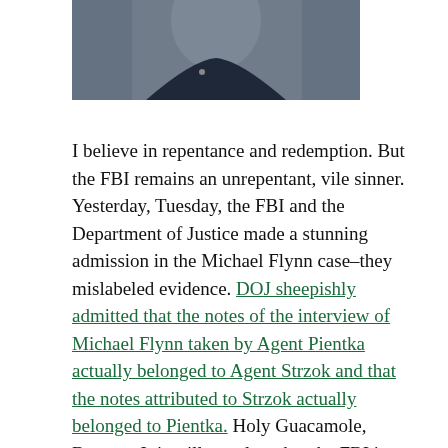[Figure (photo): Partial photo of a person wearing a dark navy collared shirt, cropped to show mainly the collar and upper torso area.]
I believe in repentance and redemption. But the FBI remains an unrepentant, vile sinner. Yesterday, Tuesday, the FBI and the Department of Justice made a stunning admission in the Michael Flynn case–they mislabeled evidence. DOJ sheepishly admitted that the notes of the interview of Michael Flynn taken by Agent Pientka actually belonged to Agent Strzok and that the notes attributed to Strzok actually belonged to Pientka. Holy Guacamole, Batman. It is still not clear that the FBI is freely confessing its sin and is committed to turning its bureaucratic life around.
There is no good news in this for the government's case. At a minimum it exposes the FBI as incompetent clowns. At worse, it may be evidence of a deliberate effort to